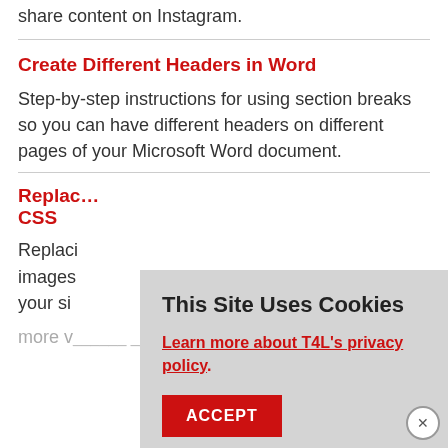share content on Instagram.
Create Different Headers in Word
Step-by-step instructions for using section breaks so you can have different headers on different pages of your Microsoft Word document.
Replace... CSS
Replaci... images... your si...
more v...
[Figure (screenshot): Cookie consent overlay with title 'This Site Uses Cookies', a red link 'Learn more about T4L's privacy policy.', and a red ACCEPT button. A close X button appears at bottom right.]